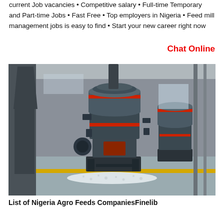current Job vacancies • Competitive salary • Full-time Temporary and Part-time Jobs • Fast Free • Top employers in Nigeria • Feed mill management jobs is easy to find • Start your new career right now
Chat Online
[Figure (photo): Industrial feed mill machines (large dark gray cylindrical grinding/milling machines with red accent bands) inside a factory warehouse with steel structure visible.]
List of Nigeria Agro Feeds CompaniesFinelib